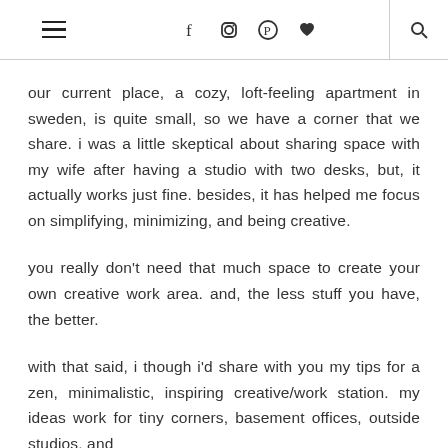[hamburger menu icon] [facebook icon] [instagram icon] [pinterest icon] [heart icon] [search icon]
our current place, a cozy, loft-feeling apartment in sweden, is quite small, so we have a corner that we share. i was a little skeptical about sharing space with my wife after having a studio with two desks, but, it actually works just fine. besides, it has helped me focus on simplifying, minimizing, and being creative.
you really don't need that much space to create your own creative work area. and, the less stuff you have, the better.
with that said, i though i'd share with you my tips for a zen, minimalistic, inspiring creative/work station. my ideas work for tiny corners, basement offices, outside studios, and